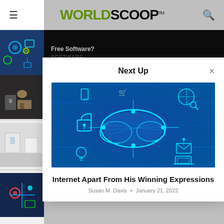WORLDSCOOP™
Free Software?
SOFTWARE
Next Up
[Figure (illustration): Technology cloud computing concept with glowing cloud, digital icons for security, mobile, mail, laptop on blue circuit background]
Internet Apart From His Winning Expressions
Susan M. Davis • January 21, 2022